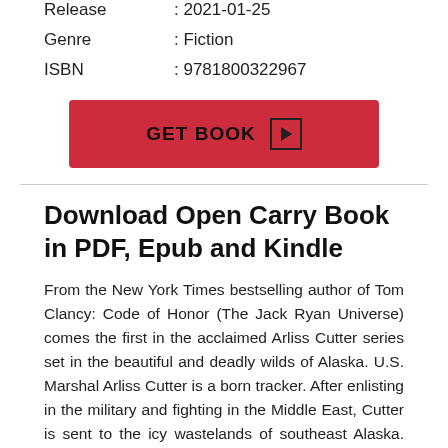Release : 2021-01-25
Genre : Fiction
ISBN : 9781800322967
[Figure (other): Red GET BOOK button with play icon]
Download Open Carry Book in PDF, Epub and Kindle
From the New York Times bestselling author of Tom Clancy: Code of Honor (The Jack Ryan Universe) comes the first in the acclaimed Arliss Cutter series set in the beautiful and deadly wilds of Alaska. U.S. Marshal Arliss Cutter is a born tracker. After enlisting in the military and fighting in the Middle East, Cutter is sent to the icy wastelands of southeast Alaska. Three